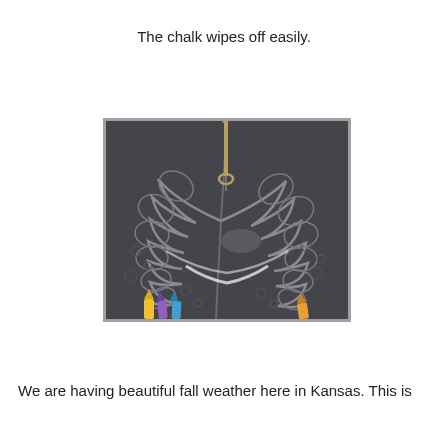The chalk wipes off easily.
[Figure (photo): Close-up photo of quilting machine needle stitching an intricate feather/leaf pattern on dark grey fabric, with colorful chalk markers visible at the bottom edge.]
We are having beautiful fall weather here in Kansas.  This is